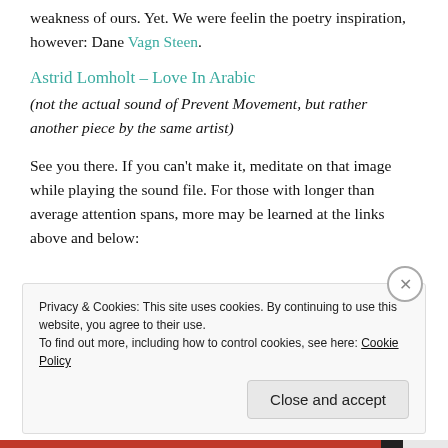weakness of ours. Yet. We were feelin the poetry inspiration, however: Dane Vagn Steen.
Astrid Lomholt – Love In Arabic
(not the actual sound of Prevent Movement, but rather another piece by the same artist)
See you there. If you can't make it, meditate on that image while playing the sound file. For those with longer than average attention spans, more may be learned at the links above and below:
Privacy & Cookies: This site uses cookies. By continuing to use this website, you agree to their use. To find out more, including how to control cookies, see here: Cookie Policy
Close and accept